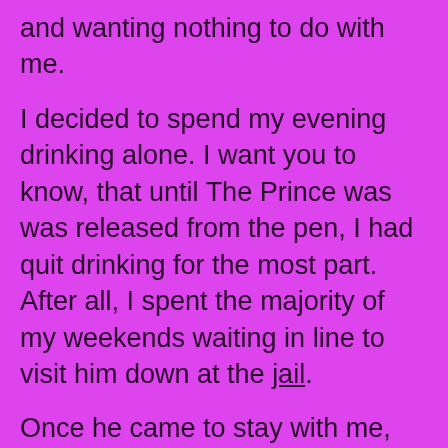and wanting nothing to do with me.

I decided to spend my evening drinking alone. I want you to know, that until The Prince was was released from the pen, I had quit drinking for the most part. After all, I spent the majority of my weekends waiting in line to visit him down at the jail.

Once he came to stay with me, we drank every single night. He had been gone two weeks at this point. Even though I had grown as tired of him as he was of me, I was starting to miss my drinking buddy.

After I was a good bottle and half of cheap